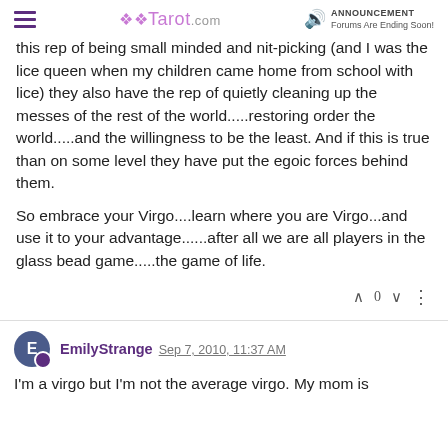Tarot.com | ANNOUNCEMENT Forums Are Ending Soon!
this rep of being small minded and nit-picking (and I was the lice queen when my children came home from school with lice) they also have the rep of quietly cleaning up the messes of the rest of the world.....restoring order the world.....and the willingness to be the least. And if this is true than on some level they have put the egoic forces behind them.
So embrace your Virgo....learn where you are Virgo...and use it to your advantage......after all we are all players in the glass bead game.....the game of life.
EmilyStrange Sep 7, 2010, 11:37 AM
I'm a virgo but I'm not the average virgo. My mom is